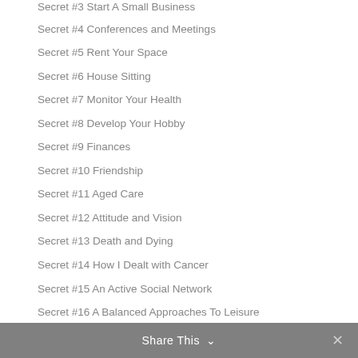Secret #3 Start A Small Business
Secret #4 Conferences and Meetings
Secret #5 Rent Your Space
Secret #6 House Sitting
Secret #7 Monitor Your Health
Secret #8 Develop Your Hobby
Secret #9 Finances
Secret #10 Friendship
Secret #11 Aged Care
Secret #12 Attitude and Vision
Secret #13 Death and Dying
Secret #14 How I Dealt with Cancer
Secret #15 An Active Social Network
Secret #16 A Balanced Approaches To Leisure
Secret #17 Retire Abr…
Share This ∨  ✕